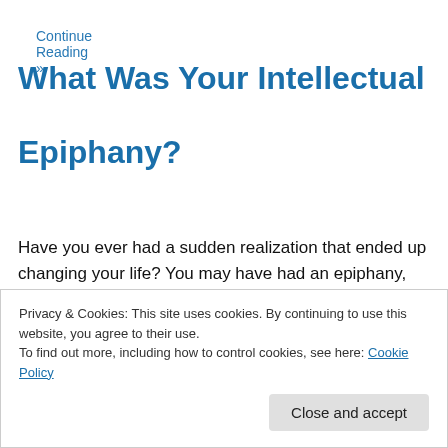Continue Reading »
What Was Your Intellectual Epiphany?
Have you ever had a sudden realization that ended up changing your life? You may have had an epiphany, which can be defined as an intuitive flash of insight or discovery
Privacy & Cookies: This site uses cookies. By continuing to use this website, you agree to their use.
To find out more, including how to control cookies, see here: Cookie Policy